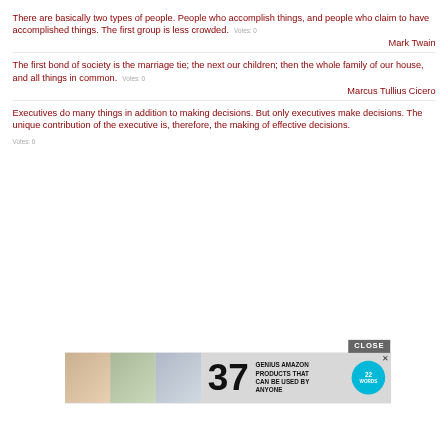There are basically two types of people. People who accomplish things, and people who claim to have accomplished things. The first group is less crowded.  Votes: 0
Mark Twain
The first bond of society is the marriage tie; the next our children; then the whole family of our house, and all things in common.  Votes: 0
Marcus Tullius Cicero
Executives do many things in addition to making decisions. But only executives make decisions. The unique contribution of the executive is, therefore, the making of effective decisions.  Votes: 0
[Figure (infographic): Advertisement overlay showing coffee cups images, number 37, text 'GENIUS AMAZON PRODUCTS THAT CAN BE USED BY ANYONE', a teal badge with '22 WORDS', and a CLOSE button.]